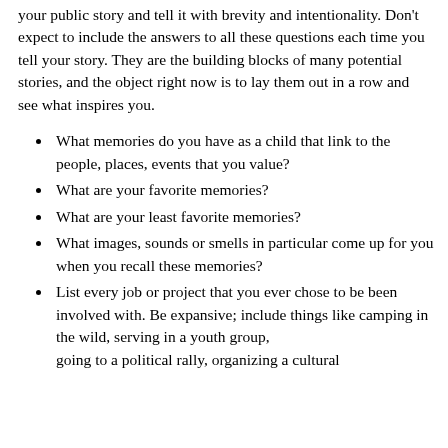your public story and tell it with brevity and intentionality. Don't expect to include the answers to all these questions each time you tell your story. They are the building blocks of many potential stories, and the object right now is to lay them out in a row and see what inspires you.
What memories do you have as a child that link to the people, places, events that you value?
What are your favorite memories?
What are your least favorite memories?
What images, sounds or smells in particular come up for you when you recall these memories?
List every job or project that you ever chose to be been involved with. Be expansive; include things like camping in the wild, serving in a youth group, going to a political rally, organizing a cultural